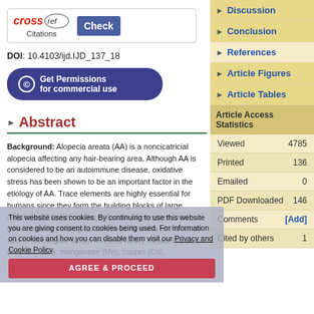[Figure (logo): CrossRef Citations logo with Check button]
DOI: 10.4103/ijd.IJD_137_18
Get Permissions for commercial use
Abstract
Background: Alopecia areata (AA) is a noncicatricial alopecia affecting any hair-bearing area. Although AA is considered to be an autoimmune disease, oxidative stress has been shown to be an important factor in the etiology of AA. Trace elements are highly essential for humans since they form the building blocks of large molecules, function as the cofactors of enzymes, and have some key biological functions. The aim of this study was to investigate serum levels of heavy metals like iron (Fe), zinc (Zn), manganese (Mn), copper (Cu),
Discussion
Conclusion
References
Article Figures
Article Tables
|  |  |
| --- | --- |
| Viewed | 4785 |
| Printed | 136 |
| Emailed | 0 |
| PDF Downloaded | 146 |
| Comments | [Add] |
| Cited by others | 1 |